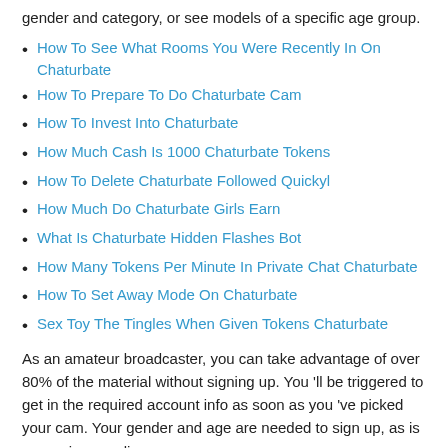gender and category, or see models of a specific age group.
How To See What Rooms You Were Recently In On Chaturbate
How To Prepare To Do Chaturbate Cam
How To Invest Into Chaturbate
How Much Cash Is 1000 Chaturbate Tokens
How To Delete Chaturbate Followed Quickyl
How Much Do Chaturbate Girls Earn
What Is Chaturbate Hidden Flashes Bot
How Many Tokens Per Minute In Private Chat Chaturbate
How To Set Away Mode On Chaturbate
Sex Toy The Tingles When Given Tokens Chaturbate
As an amateur broadcaster, you can take advantage of over 80% of the material without signing up. You 'll be triggered to get in the required account info as soon as you 've picked your cam. Your gender and age are needed to sign up, as is your privacy policy.